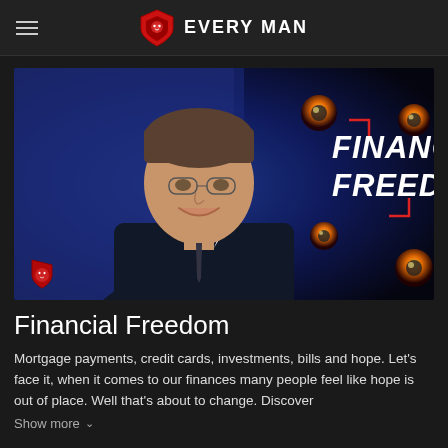EVERY MAN
[Figure (photo): A smiling middle-aged man in a dark sweater with white collared shirt, standing against a blue/dark background. Overlaid text reads 'FINANCIAL FREEDOM' in bold white italic letters with red corner brackets. Orange glowing orb decorations visible. Logo shield badge in bottom left corner.]
Financial Freedom
Mortgage payments, credit cards, investments, bills and hope. Let's face it, when it comes to our finances many people feel like hope is out of place. Well that's about to change. Discover
Show more